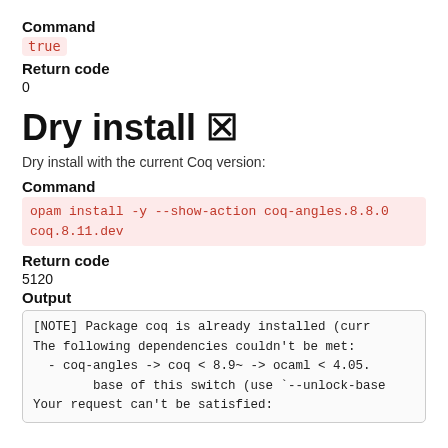Command
true
Return code
0
Dry install 🗷
Dry install with the current Coq version:
Command
opam install -y --show-action coq-angles.8.8.0 coq.8.11.dev
Return code
5120
Output
[NOTE] Package coq is already installed (curr
The following dependencies couldn't be met:
  - coq-angles -> coq < 8.9~ -> ocaml < 4.05.
        base of this switch (use `--unlock-base
Your request can't be satisfied: